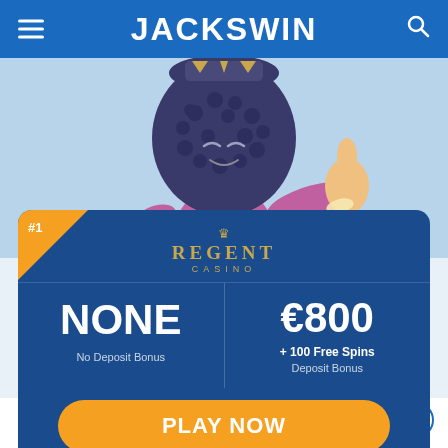JACKSWIN
[Figure (illustration): 3D cartoon mascot character with blue textured head, purple body, giving thumbs up, on light blue background]
#1 REGENT CASINO
NONE
No Deposit Bonus
€800
+ 100 Free Spins
Deposit Bonus
PLAY NOW
100% up to €800 on first deposit. Wagering Requirements is 35x. Bonus is valid for 30 days. 25 Free Spins upon fully registrating.